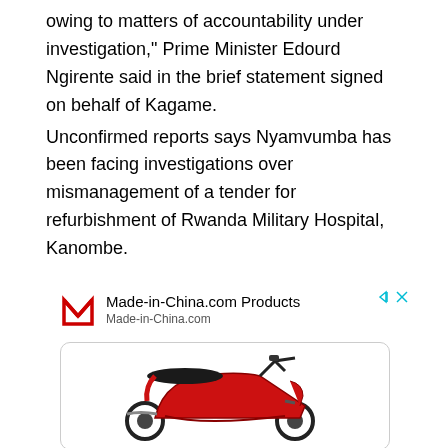owing to matters of accountability under investigation," Prime Minister Edourd Ngirente said in the brief statement signed on behalf of Kagame.
Unconfirmed reports says Nyamvumba has been facing investigations over mismanagement of a tender for refurbishment of Rwanda Military Hospital, Kanombe.
[Figure (advertisement): Made-in-China.com advertisement showing a red motor scooter/moped image inside a rounded rectangle box, with the Made-in-China.com logo and product title above.]